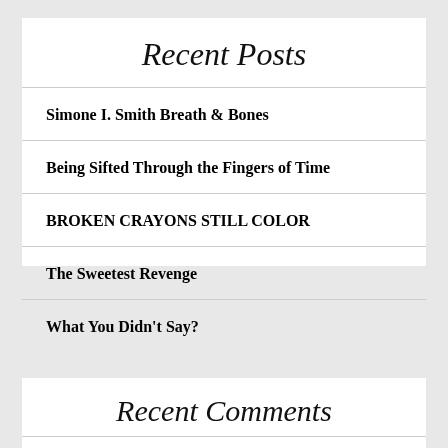Recent Posts
Simone I. Smith Breath & Bones
Being Sifted Through the Fingers of Time
BROKEN CRAYONS STILL COLOR
The Sweetest Revenge
What You Didn't Say?
Recent Comments